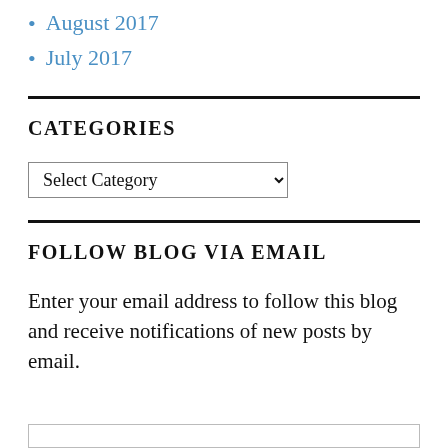August 2017
July 2017
CATEGORIES
Select Category
FOLLOW BLOG VIA EMAIL
Enter your email address to follow this blog and receive notifications of new posts by email.